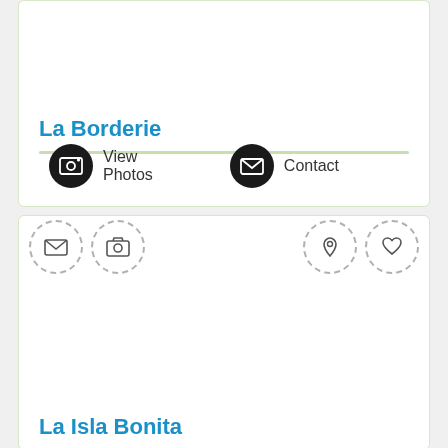La Borderie
[Figure (screenshot): View Photos button with black circle icon containing a photo/image add icon]
[Figure (screenshot): Contact button with black circle icon containing an envelope icon]
[Figure (screenshot): Four outlined dashed circular icons: envelope, camera, location pin, heart]
La Isla Bonita